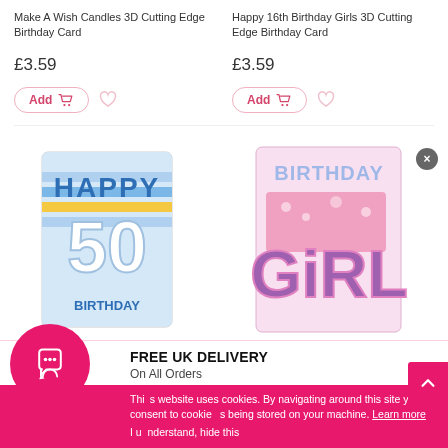Make A Wish Candles 3D Cutting Edge Birthday Card
Happy 16th Birthday Girls 3D Cutting Edge Birthday Card
£3.59
£3.59
[Figure (screenshot): Happy 50th Birthday 3D card with colorful letters and chevron pattern]
[Figure (screenshot): Birthday Girl 3D card in pink and purple tones]
FREE UK DELIVERY
On All Orders
This website uses cookies. By navigating around this site you consent to cookies being stored on your machine. Learn more
I understand, hide this